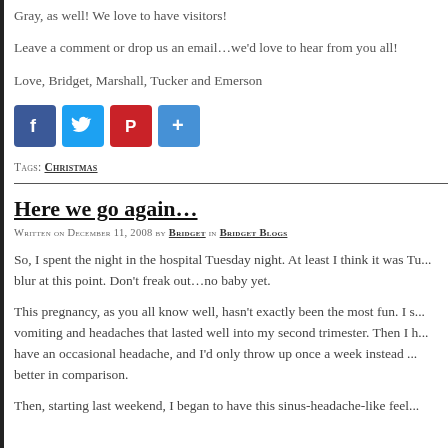Gray, as well! We love to have visitors!
Leave a comment or drop us an email…we'd love to hear from you all!
Love, Bridget, Marshall, Tucker and Emerson
[Figure (infographic): Social sharing icons: Facebook (blue), Twitter (light blue), Pinterest (red), Share/Plus (blue)]
Tags: Christmas
Here we go again…
Written on December 11, 2008 by Bridget in Bridget Blogs
So, I spent the night in the hospital Tuesday night. At least I think it was Tu… blur at this point. Don't freak out…no baby yet.
This pregnancy, as you all know well, hasn't exactly been the most fun. I s… vomiting and headaches that lasted well into my second trimester. Then I h… have an occasional headache, and I'd only throw up once a week instead … better in comparison.
Then, starting last weekend, I began to have this sinus-headache-like feel…